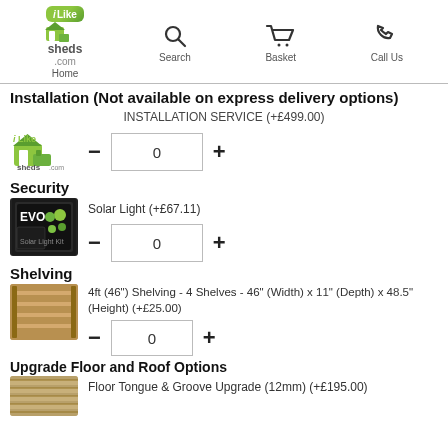Home | Search | Basket | Call Us
Installation (Not available on express delivery options)
INSTALLATION SERVICE (+£499.00)
[Figure (screenshot): iLike Sheds logo with minus button, quantity box showing 0, and plus button]
Security
Solar Light (+£67.11)
[Figure (screenshot): EVO solar light product image with minus button, quantity box showing 0, and plus button]
Shelving
4ft (46") Shelving - 4 Shelves - 46" (Width) x 11" (Depth) x 48.5" (Height) (+£25.00)
[Figure (screenshot): Shelving product image with minus button, quantity box showing 0, and plus button]
Upgrade Floor and Roof Options
Floor Tongue & Groove Upgrade (12mm) (+£195.00)